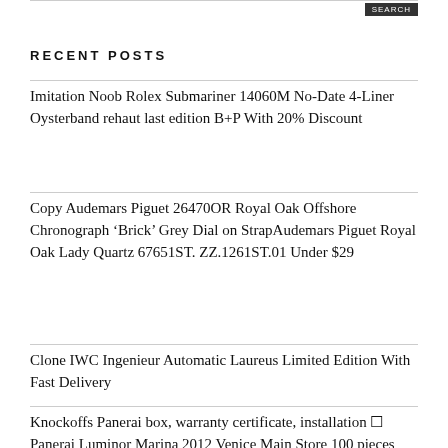RECENT POSTS
Imitation Noob Rolex Submariner 14060M No-Date 4-Liner Oysterband rehaut last edition B+P With 20% Discount
Copy Audemars Piguet 26470OR Royal Oak Offshore Chronograph ‘Brick’ Grey Dial on StrapAudemars Piguet Royal Oak Lady Quartz 67651ST. ZZ.1261ST.01 Under $29
Clone IWC Ingenieur Automatic Laureus Limited Edition With Fast Delivery
Knockoffs Panerai box, warranty certificate, installation [] Panerai Luminor Marina 2012 Venice Main Store 100 pieces limited model PAM00540 hand-wound men